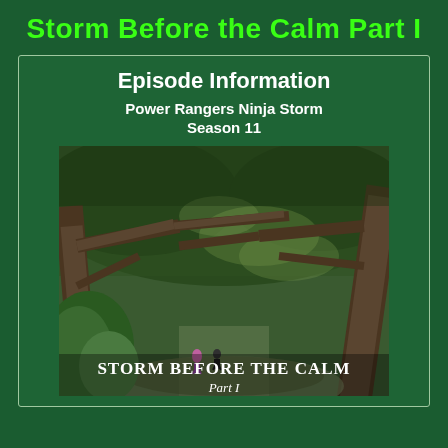Storm Before the Calm Part I
Episode Information
Power Rangers Ninja Storm
Season 11
[Figure (photo): A forest scene with twisted trees, dappled light through the canopy, two small figures on a path, with text overlay reading 'STORM BEFORE THE CALM Part I']